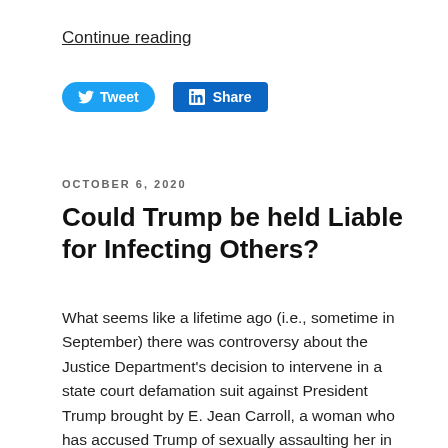Continue reading
[Figure (other): Tweet and LinkedIn Share social media buttons]
OCTOBER 6, 2020
Could Trump be held Liable for Infecting Others?
What seems like a lifetime ago (i.e., sometime in September) there was controversy about the Justice Department's decision to intervene in a state court defamation suit against President Trump brought by E. Jean Carroll, a woman who has accused Trump of sexually assaulting her in the 1990s, for statements Trump made publicly about Carroll during his time in office. According to Carroll's lawsuit, Trump defamed her by (among other things) falsely asserting that she